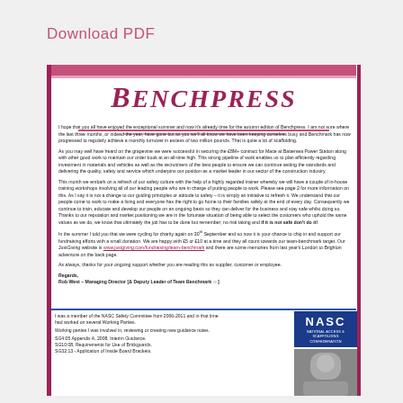Download PDF
BENCHPRESS
I hope that you all have enjoyed the exceptional summer and now it's already time for the autumn edition of Benchpress. I am not sure where the last three months, or indeed the year, have gone but as you we'll all know we have been keeping ourselves busy and Benchmark has now progressed to regularly achieve a monthly turnover in excess of two million pounds. That is quite a lot of scaffolding.
As you may well have heard on the grapevine we were successful in securing the £8M+ contract for Mace at Battersea Power Station along with other good work to maintain our order book at an all-time high. This strong pipeline of work enables us to plan efficiently regarding investment in materials and vehicles as well as the recruitment of the best people to ensure we can continue setting the standards and delivering the quality, safety and service which underpins our position as a market leader in our sector of the construction industry.
This month we embark on a refresh of our safety culture with the help of a highly regarded trainer whereby we will have a couple of in-house training workshops involving all of our leading people who are in charge of putting people to work. Please see page 2 for more information on this. As I say it is not a change to our guiding principles or attitude to safety – it is simply an initiative to refresh it. We understand that our people come to work to make a living and everyone has the right to go home to their families safely at the end of every day. Consequently we continue to train, educate and develop our people on an ongoing basis so they can deliver for the business and stay safe whilst doing so. Thanks to our reputation and market positioning we are in the fortunate situation of being able to select the customers who uphold the same values as we do, we know that ultimately the job has to be done but remember; no risk taking and if it is not safe don't do it!
In the summer I told you that we were cycling for charity again on 30th September and so now it is your chance to chip in and support our fundraising efforts with a small donation. We are happy with £5 or £10 at a time and they all count towards our team-benchmark target. Our JustGiving website is www.justgiving.com/fundraising/team-benchmark and there are some memories from last year's London to Brighton adventure on the back page.
As always, thanks for your ongoing support whether you are reading this as supplier, customer or employee.
Regards,
Rob West – Managing Director [& Deputy Leader of Team Benchmark ☺]
I was a member of the NASC Safety Committee from 2006-2011 and in that time had worked on several Working Parties.
Working parties I was involved in, reviewing or creating new guidance notes.
SG4:05 Appendix A, 2008, Interim Guidance.
SG10:08, Requirements for Use of Brickguards.
SG32:13 - Application of Inside Board Brackets.
[Figure (logo): NASC - National Access & Scaffolding Confederation logo, dark blue background with white text]
[Figure (photo): Photo of a person]